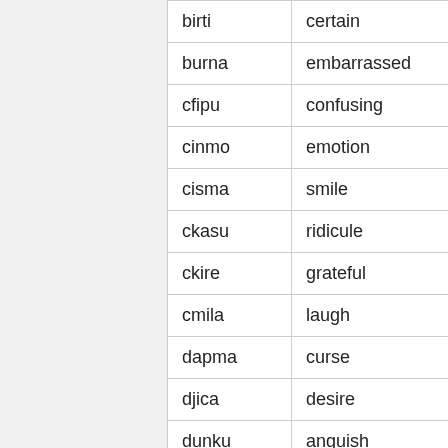|  |  |  |
| --- | --- | --- |
| birti | certain | Psycho |
| burna | embarrassed | Psycho |
| cfipu | confusing | Psycho |
| cinmo | emotion | Psycho |
| cisma | smile | Psycho |
| ckasu | ridicule | Psycho |
| ckire | grateful | Psycho |
| cmila | laugh | Psycho |
| dapma | curse | Psycho |
| djica | desire | Psycho |
| dunku | anguish | Psycho |
| fanza | annoy | Psycho |
| fengu | angry | Psycho |
| fenki | crazy | Psycho |
| gleki | happy | Psycho |
| jenca | shock | Psycho |